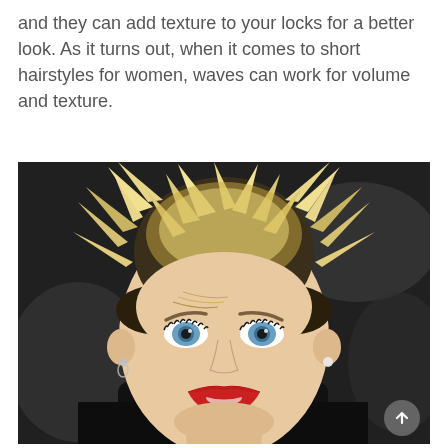and they can add texture to your locks for a better look. As it turns out, when it comes to short hairstyles for women, waves can work for volume and texture.
[Figure (photo): Close-up photo of a woman with a spiky, voluminous blonde short hairstyle, blue eyes, and red lips, wearing a dark outfit, photographed at an event.]